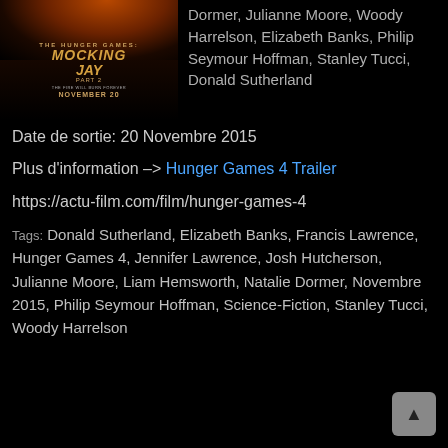[Figure (illustration): Movie poster for The Hunger Games: Mockingjay Part 2, dark background with fire, release date November 20]
Dormer, Julianne Moore, Woody Harrelson, Elizabeth Banks, Philip Seymour Hoffman, Stanley Tucci, Donald Sutherland
Date de sortie: 20 Novembre 2015
Plus d'information –> Hunger Games 4 Trailer
https://actu-film.com/film/hunger-games-4
Tags: Donald Sutherland, Elizabeth Banks, Francis Lawrence, Hunger Games 4, Jennifer Lawrence, Josh Hutcherson, Julianne Moore, Liam Hemsworth, Natalie Dormer, Novembre 2015, Philip Seymour Hoffman, Science-Fiction, Stanley Tucci, Woody Harrelson